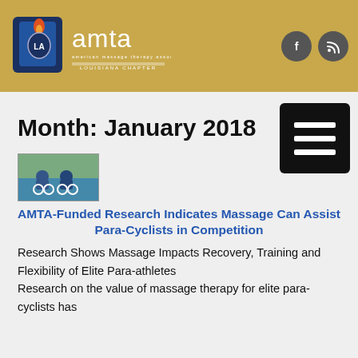[Figure (logo): AMTA American Massage Therapy Association Louisiana Chapter logo with shield emblem]
AMTA Louisiana Chapter
Month: January 2018
[Figure (photo): Thumbnail image of para-cyclists competing]
AMTA-Funded Research Indicates Massage Can Assist Para-Cyclists in Competition
Research Shows Massage Impacts Recovery, Training and Flexibility of Elite Para-athletes
Research on the value of massage therapy for elite para-cyclists has